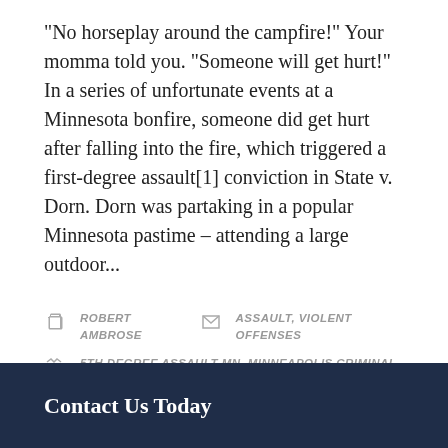"No horseplay around the campfire!" Your momma told you. "Someone will get hurt!" In a series of unfortunate events at a Minnesota bonfire, someone did get hurt after falling into the fire, which triggered a first-degree assault[1] conviction in State v. Dorn. Dorn was partaking in a popular Minnesota pastime – attending a large outdoor...
ROBERT AMBROSE   ASSAULT, VIOLENT OFFENSES
5TH DEGREE ASSAULT MN, MINNEAPOLIS CRIMINAL DEFENSE LAWYER, ST. PAUL MN CRIMINAL DEFENSE ATTORNEY
Contact Us Today